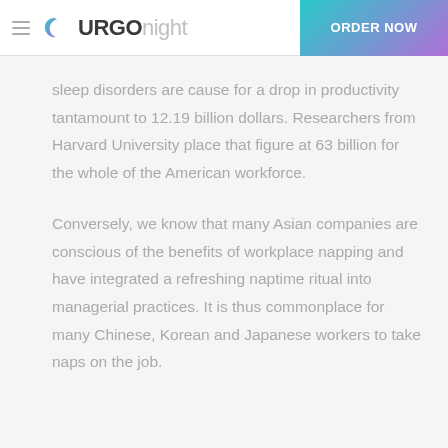URGO night | ORDER NOW
sleep disorders are cause for a drop in productivity tantamount to 12.19 billion dollars. Researchers from Harvard University place that figure at 63 billion for the whole of the American workforce.
Conversely, we know that many Asian companies are conscious of the benefits of workplace napping and have integrated a refreshing naptime ritual into managerial practices. It is thus commonplace for many Chinese, Korean and Japanese workers to take naps on the job.